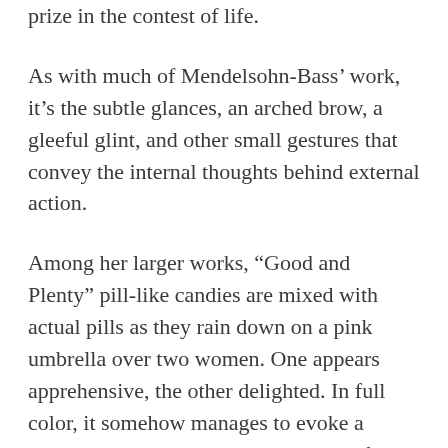prize in the contest of life.
As with much of Mendelsohn-Bass’ work, it’s the subtle glances, an arched brow, a gleeful glint, and other small gestures that convey the internal thoughts behind external action.
Among her larger works, “Good and Plenty” pill-like candies are mixed with actual pills as they rain down on a pink umbrella over two women. One appears apprehensive, the other delighted. In full color, it somehow manages to evoke a deeper sadness, the overall pinkness of the piece along with a black background makes the world seem as